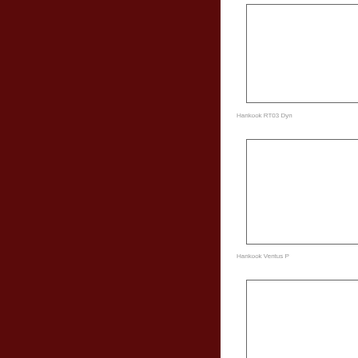[Figure (photo): Dark maroon/dark red background panel occupying the left portion of the page]
[Figure (photo): White product image box 1 - Hankook RT03 Dyn tire]
Hankook RT03 Dyn
[Figure (photo): White product image box 2 - Hankook Ventus tire]
Hankook Ventus P
[Figure (photo): White product image box 3 - partial third tire]